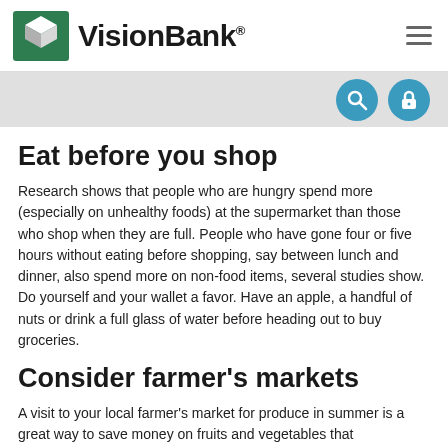VisionBank
Eat before you shop
Research shows that people who are hungry spend more (especially on unhealthy foods) at the supermarket than those who shop when they are full. People who have gone four or five hours without eating before shopping, say between lunch and dinner, also spend more on non-food items, several studies show. Do yourself and your wallet a favor. Have an apple, a handful of nuts or drink a full glass of water before heading out to buy groceries.
Consider farmer’s markets
A visit to your local farmer's market for produce in summer is a great way to save money on fruits and vegetables that